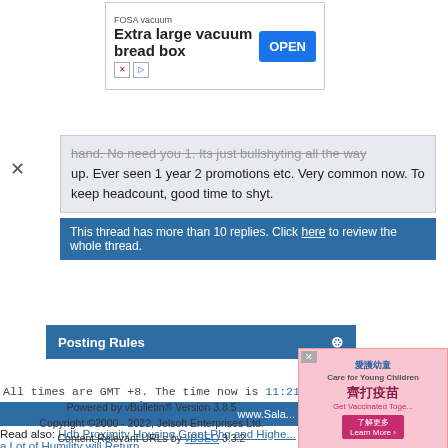[Figure (other): Advertisement banner for FOSA vacuum - Extra large vacuum bread box with OPEN button]
hand. No need you 1. Its just bullshyting all the way up. Ever seen 1 year 2 promotions etc. Very common now. To keep headcount, good time to shyt.
This thread has more than 10 replies. Click here to review the whole thread.
Posting Rules
All times are GMT +8. The time now is 11:21 A...
www.Sala...
Read also: Hdb Proximity Housing Grant Phg and Highe... a Lot of Humility will Return
Powered by vBulletin® Version 3.8.5
Copyright ©2000 - 2022, Jelsoft Enterprises Ltd.
Content Relevant URLs by vBSEO 3.3.2